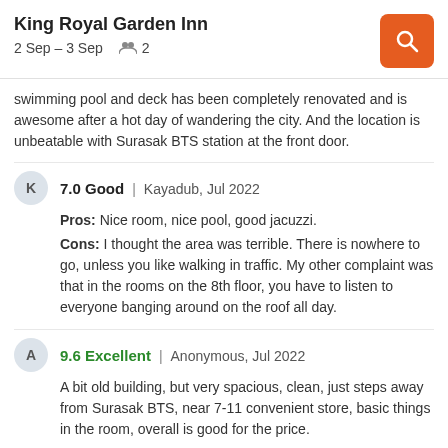King Royal Garden Inn
2 Sep – 3 Sep   2
swimming pool and deck has been completely renovated and is awesome after a hot day of wandering the city. And the location is unbeatable with Surasak BTS station at the front door.
7.0 Good | Kayadub, Jul 2022
Pros: Nice room, nice pool, good jacuzzi.
Cons: I thought the area was terrible. There is nowhere to go, unless you like walking in traffic. My other complaint was that in the rooms on the 8th floor, you have to listen to everyone banging around on the roof all day.
9.6 Excellent | Anonymous, Jul 2022
A bit old building, but very spacious, clean, just steps away from Surasak BTS, near 7-11 convenient store, basic things in the room, overall is good for the price.
6.0 Okay | John, Jul 2022
Pros: The room was very large, the air conditioning was great and the bed very comfy! The pool was was also very nice, a